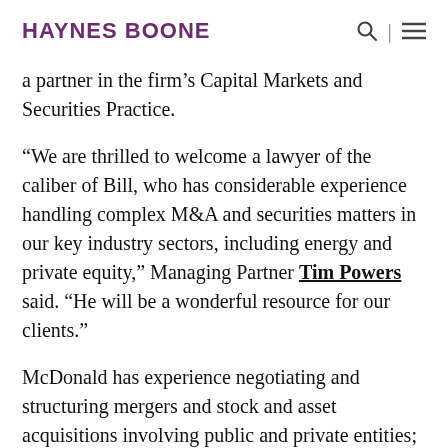HAYNES BOONE
a partner in the firm's Capital Markets and Securities Practice.
“We are thrilled to welcome a lawyer of the caliber of Bill, who has considerable experience handling complex M&A and securities matters in our key industry sectors, including energy and private equity,” Managing Partner Tim Powers said. “He will be a wonderful resource for our clients.”
McDonald has experience negotiating and structuring mergers and stock and asset acquisitions involving public and private entities; representing issuers in public and private